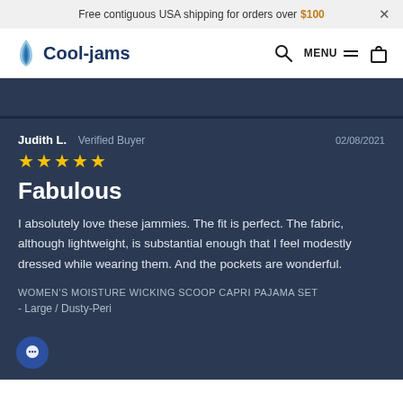Free contiguous USA shipping for orders over $100  ×
[Figure (logo): Cool-jams logo with water drop icon and navigation icons (search, MENU, cart)]
Judith L.  Verified Buyer
02/08/2021
★★★★★
Fabulous
I absolutely love these jammies. The fit is perfect. The fabric, although lightweight, is substantial enough that I feel modestly dressed while wearing them. And the pockets are wonderful.
WOMEN'S MOISTURE WICKING SCOOP CAPRI PAJAMA SET
- Large / Dusty-Peri